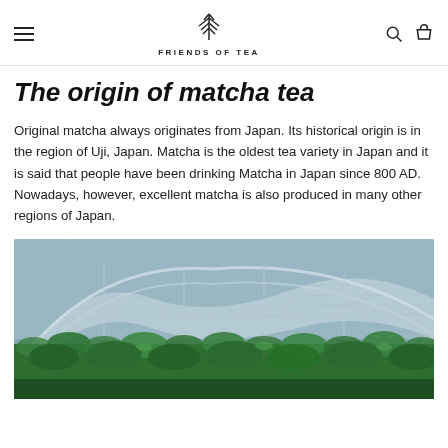FRIENDS OF TEA
The origin of matcha tea
Original matcha always originates from Japan. Its historical origin is in the region of Uji, Japan. Matcha is the oldest tea variety in Japan and it is said that people have been drinking Matcha in Japan since 800 AD. Nowadays, however, excellent matcha is also produced in many other regions of Japan.
[Figure (photo): A matcha tea plantation covered with shade netting structures, with lush green tea plants visible underneath translucent canopy frames.]